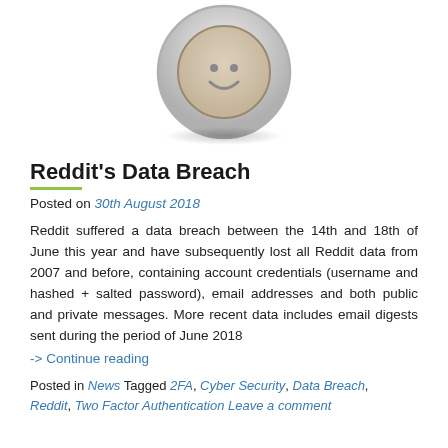[Figure (illustration): A circular icon/avatar with concentric circles, outer grey gradient ring, inner tan/beige circle with a faint smile face, and a soft shadow below]
Reddit's Data Breach
Posted on 30th August 2018
Reddit suffered a data breach between the 14th and 18th of June this year and have subsequently lost all Reddit data from 2007 and before, containing account credentials (username and hashed + salted password), email addresses and both public and private messages. More recent data includes email digests sent during the period of June 2018
-> Continue reading
Posted in News Tagged 2FA, Cyber Security, Data Breach, Reddit, Two Factor Authentication Leave a comment